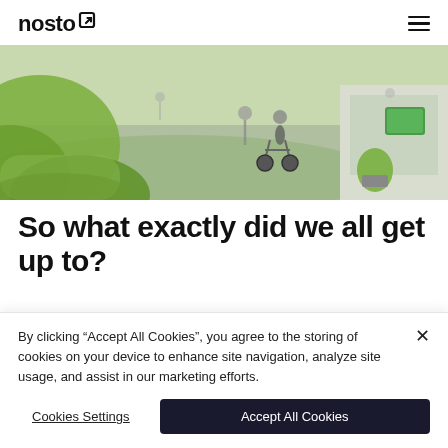nosto
[Figure (photo): Outdoor urban scene with people cycling and walking on a green-paved area, blurred green foliage in foreground, building facade visible on right.]
So what exactly did we all get up to?
By clicking “Accept All Cookies”, you agree to the storing of cookies on your device to enhance site navigation, analyze site usage, and assist in our marketing efforts.
Cookies Settings
Accept All Cookies